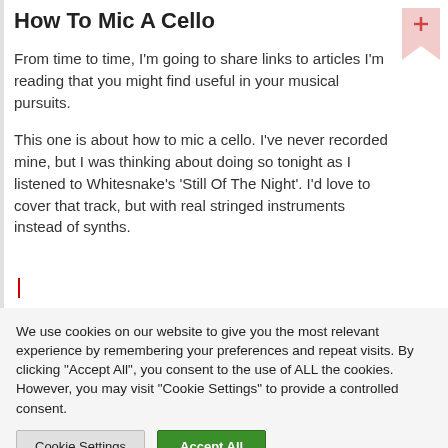How To Mic A Cello
From time to time, I'm going to share links to articles I'm reading that you might find useful in your musical pursuits.
This one is about how to mic a cello. I've never recorded mine, but I was thinking about doing so tonight as I listened to Whitesnake's 'Still Of The Night'. I'd love to cover that track, but with real stringed instruments instead of synths.
We use cookies on our website to give you the most relevant experience by remembering your preferences and repeat visits. By clicking "Accept All", you consent to the use of ALL the cookies. However, you may visit "Cookie Settings" to provide a controlled consent.